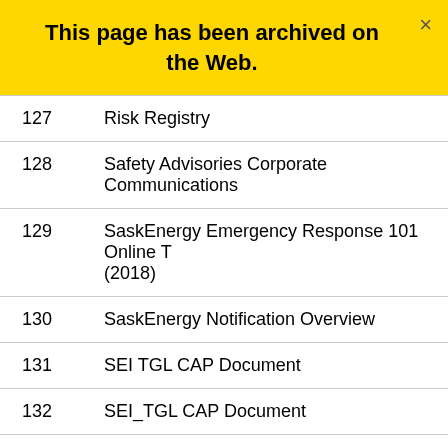This page has been archived on the Web.
| 127 | Risk Registry |
| 128 | Safety Advisories Corporate Communications |
| 129 | SaskEnergy Emergency Response 101 Online T (2018) |
| 130 | SaskEnergy Notification Overview |
| 131 | SEI TGL CAP Document |
| 132 | SEI_TGL CAP Document |
| 133 | SMA Sign-off – 8 Links |
| 134 | Squeeze Off |